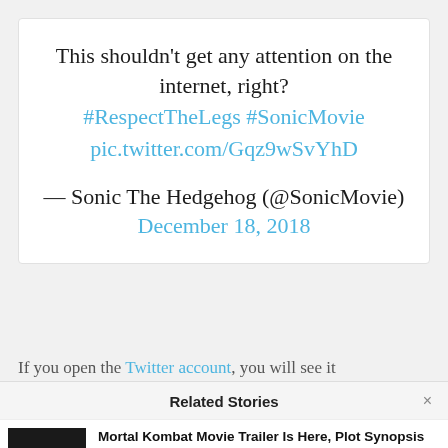[Figure (screenshot): Tweet card showing: 'This shouldn't get any attention on the internet, right? #RespectTheLegs #SonicMovie pic.twitter.com/Gqz9wSvYhD — Sonic The Hedgehog (@SonicMovie) December 18, 2018']
If you open the Twitter account, you will see it
Related Stories
Mortal Kombat Movie Trailer Is Here, Plot Synopsis Revealed